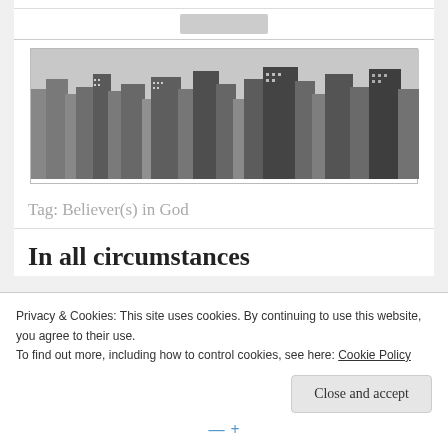[Figure (photo): Black and white aerial photo of a dense city skyline with many skyscrapers and high-rise buildings]
Tag: Believer(s) in God
In all circumstances
Privacy & Cookies: This site uses cookies. By continuing to use this website, you agree to their use.
To find out more, including how to control cookies, see here: Cookie Policy
Close and accept